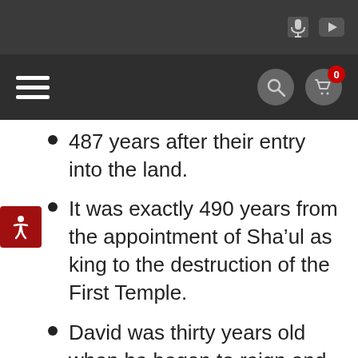Navigation bar with hamburger menu, search and cart icons
487 years after their entry into the land.
It was exactly 490 years from the appointment of Sha’ul as king to the destruction of the First Temple.
David was thirty years old when he began to reign and reigned for 40 years. The eternal throne of David would be established 30 jubilee years following the entrance of Yisra’el into the land,